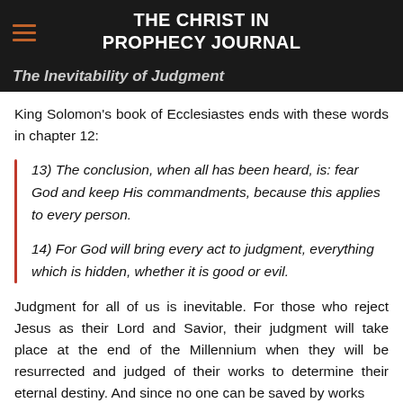THE CHRIST IN PROPHECY JOURNAL
The Inevitability of Judgment
King Solomon's book of Ecclesiastes ends with these words in chapter 12:
13) The conclusion, when all has been heard, is: fear God and keep His commandments, because this applies to every person.

14) For God will bring every act to judgment, everything which is hidden, whether it is good or evil.
Judgment for all of us is inevitable. For those who reject Jesus as their Lord and Savior, their judgment will take place at the end of the Millennium when they will be resurrected and judged of their works to determine their eternal destiny. And since no one can be saved by works